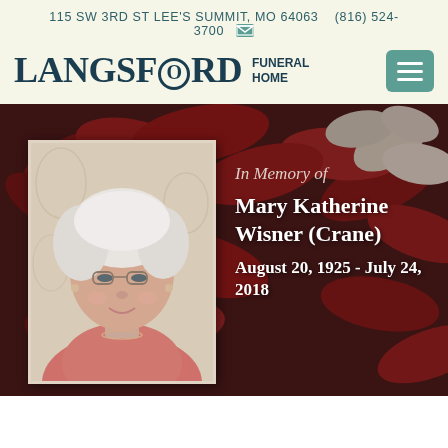115 SW 3RD ST LEE'S SUMMIT, MO 64063   (816) 524-3700
[Figure (logo): Langsford Funeral Home logo with menu button]
[Figure (photo): Memorial page with floral background (red and white flowers), portrait photo of elderly woman with white hair, glasses, and coral top. Text reads: In Memory of Mary Katherine Wisner (Crane), August 20, 1925 - July 24, 2018]